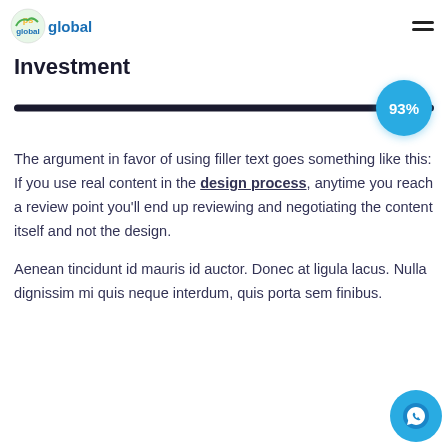ps global
Investment
[Figure (other): Horizontal progress bar with a circular badge showing 93% at the right end]
The argument in favor of using filler text goes something like this: If you use real content in the design process, anytime you reach a review point you'll end up reviewing and negotiating the content itself and not the design.
Aenean tincidunt id mauris id auctor. Donec at ligula lacus. Nulla dignissim mi quis neque interdum, quis porta sem finibus.